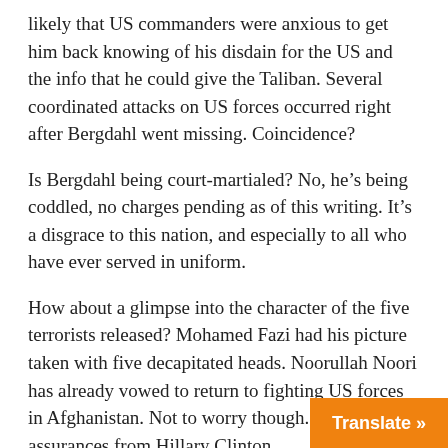likely that US commanders were anxious to get him back knowing of his disdain for the US and the info that he could give the Taliban. Several coordinated attacks on US forces occurred right after Bergdahl went missing. Coincidence?
Is Bergdahl being court-martialed? No, he's being coddled, no charges pending as of this writing. It's a disgrace to this nation, and especially to all who have ever served in uniform.
How about a glimpse into the character of the five terrorists released? Mohamed Fazi had his picture taken with five decapitated heads. Noorullah Noori has already vowed to return to fighting US forces in Afghanistan. Not to worry though. We have assurances from Hillary Clinton.
With a smile on her face, this vile woman actually said, “These five guys are not a threat to the United States. They’re a threat to the safety and security of Afghanistan and Pakistan.” I’m sure the Afghanis and P appreciate her assessment. We’re releasin
[Figure (other): Orange 'Translate »' button overlay in bottom-right corner]